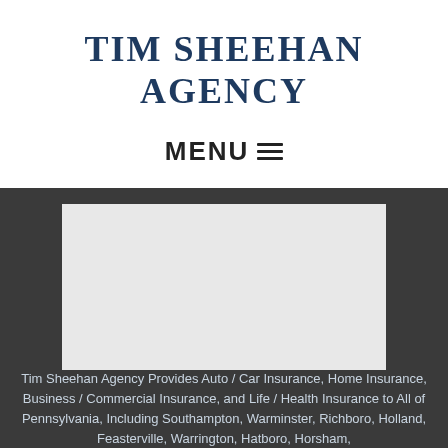TIM SHEEHAN AGENCY
MENU ☰
[Figure (photo): Gray placeholder image area for agency photo or banner, set against a dark background]
Tim Sheehan Agency Provides Auto / Car Insurance, Home Insurance, Business / Commercial Insurance, and Life / Health Insurance to All of Pennsylvania, Including Southampton, Warminster, Richboro, Holland, Feasterville, Warrington, Hatboro, Horsham,